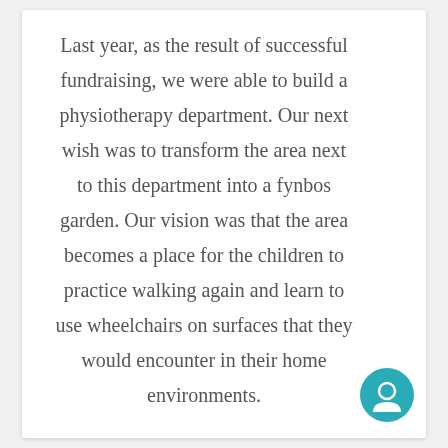Last year, as the result of successful fundraising, we were able to build a physiotherapy department. Our next wish was to transform the area next to this department into a fynbos garden. Our vision was that the area becomes a place for the children to practice walking again and learn to use wheelchairs on surfaces that they would encounter in their home environments.